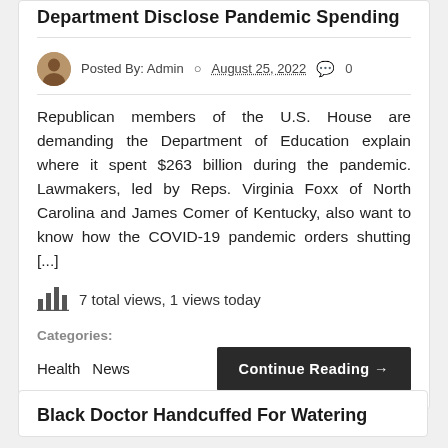Department Disclose Pandemic Spending
Posted By: Admin  August 25, 2022  0
Republican members of the U.S. House are demanding the Department of Education explain where it spent $263 billion during the pandemic. Lawmakers, led by Reps. Virginia Foxx of North Carolina and James Comer of Kentucky, also want to know how the COVID-19 pandemic orders shutting [...]
7 total views, 1 views today
Categories: Health  News
Black Doctor Handcuffed For Watering